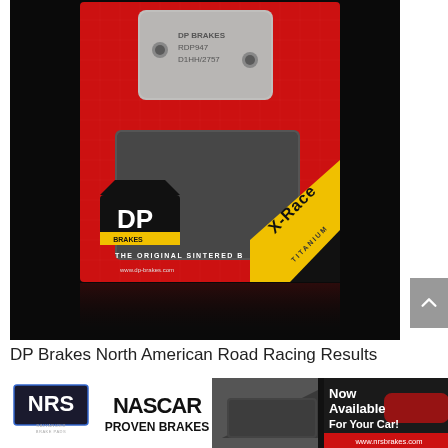[Figure (photo): DP Brakes brake pad product in red X-Race Titanium packaging. The packaging shows the DP Brakes logo, text 'THE ORIGINAL SINTERED B...' and 'www.dp-brakes.com'. The brake pad is metallic grey on a red card with a yellow/black X-Race diagonal stripe. Reflected on a black surface below.]
DP Brakes North American Road Racing Results
[Figure (photo): Bottom banner strip showing NRS Galvanized Brake Pads logo, NASCAR Proven Brakes logo, brake pad image, and a 'Now Available For Your Car! www.nrsbrakes.com' advertisement on dark background with red car.]